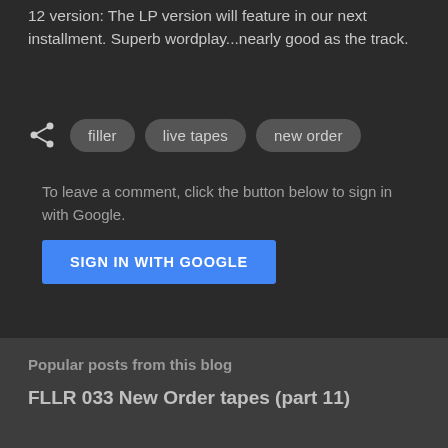12 version:  The LP version will feature in our next installment.  Superb wordplay...nearly good as the track.
[Figure (other): Share icon and tag pills: filler, live tapes, new order]
To leave a comment, click the button below to sign in with Google.
[Figure (other): SIGN IN WITH GOOGLE blue button]
Popular posts from this blog
FLLR 033  New Order tapes (part 11)